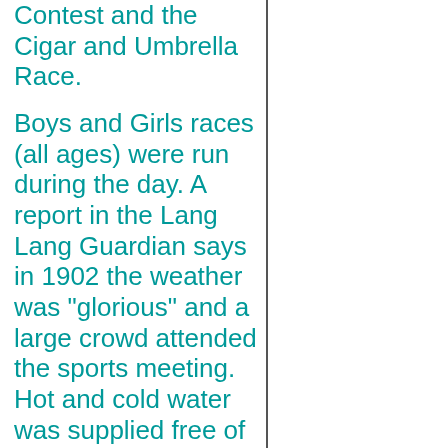Contest and the Cigar and Umbrella Race.
Boys and Girls races (all ages) were run during the day. A report in the Lang Lang Guardian says in 1902 the weather was "glorious" and a large crowd attended the sports meeting. Hot and cold water was supplied free of charge, for a large